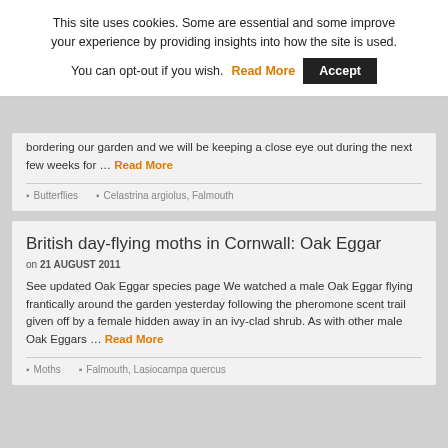This site uses cookies. Some are essential and some improve your experience by providing insights into how the site is used. You can opt-out if you wish. Read More Accept
bordering our garden and we will be keeping a close eye out during the next few weeks for … Read More
Butterflies   Celastrina argiolus, Falmouth
British day-flying moths in Cornwall: Oak Eggar
on 21 AUGUST 2011
See updated Oak Eggar species page We watched a male Oak Eggar flying frantically around the garden yesterday following the pheromone scent trail given off by a female hidden away in an ivy-clad shrub. As with other male Oak Eggars … Read More
Moths   Falmouth, Lasiocampa quercus